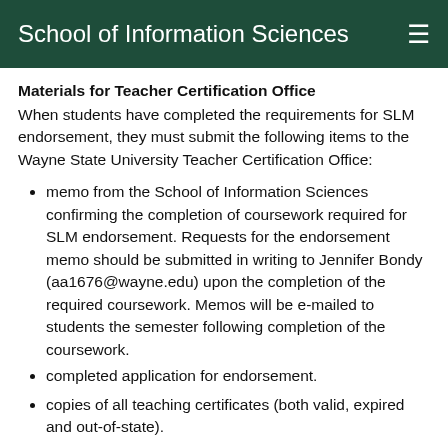School of Information Sciences
Materials for Teacher Certification Office
When students have completed the requirements for SLM endorsement, they must submit the following items to the Wayne State University Teacher Certification Office:
memo from the School of Information Sciences confirming the completion of coursework required for SLM endorsement. Requests for the endorsement memo should be submitted in writing to Jennifer Bondy (aa1676@wayne.edu) upon the completion of the required coursework. Memos will be e-mailed to students the semester following completion of the coursework.
completed application for endorsement.
copies of all teaching certificates (both valid, expired and out-of-state).